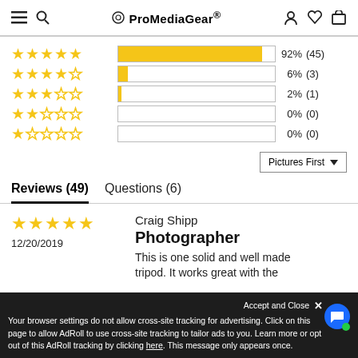ProMediaGear®
[Figure (bar-chart): Rating distribution]
Pictures First ▼
Reviews (49)    Questions (6)
Craig Shipp
12/20/2019
Photographer
This is one solid and well made tripod. It works great with the
Your browser settings do not allow cross-site tracking for advertising. Click on this page to allow AdRoll to use cross-site tracking to tailor ads to you. Learn more or opt out of this AdRoll tracking by clicking here. This message only appears once.